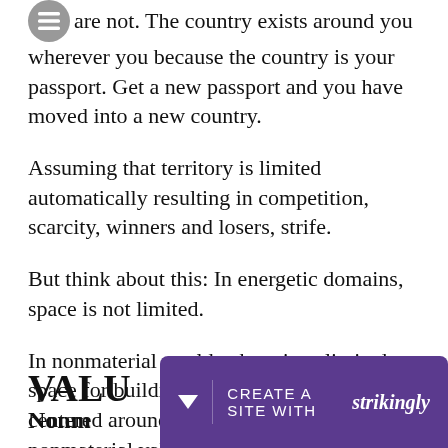are not. The country exists around you wherever you because the country is your passport. Get a new passport and you have moved into a new country.
Assuming that territory is limited automatically resulting in competition, scarcity, winners and losers, strife.
But think about this: In energetic domains, space is not limited.
In nonmaterial worlds, there is unlimited space for building out new gameworlds centered around creating and exchanging nonmaterial values.
VALU
Nonm
[Figure (other): Strikingly website builder banner bar at the bottom of the page with a dropdown arrow, divider, 'CREATE A SITE WITH strikingly' text on purple background]